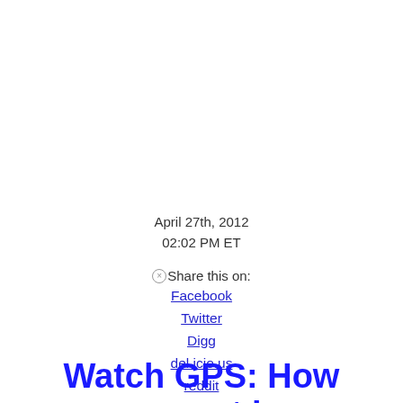April 27th, 2012
02:02 PM ET
Share this on:
Facebook
Twitter
Digg
del.icio.us
reddit
MySpace
StumbleUpon
Watch GPS: How corrupt is